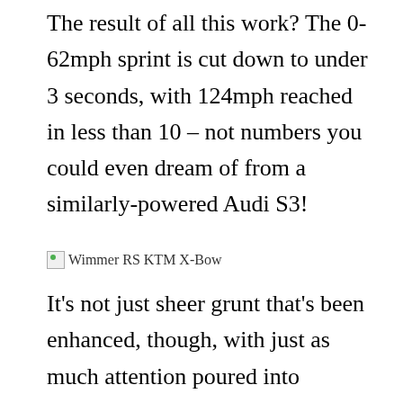The result of all this work? The 0-62mph sprint is cut down to under 3 seconds, with 124mph reached in less than 10 – not numbers you could even dream of from a similarly-powered Audi S3!
Wimmer RS KTM X-Bow
It's not just sheer grunt that's been enhanced, though, with just as much attention poured into ensuring the highly-strung chassis and handling departments are made equally as